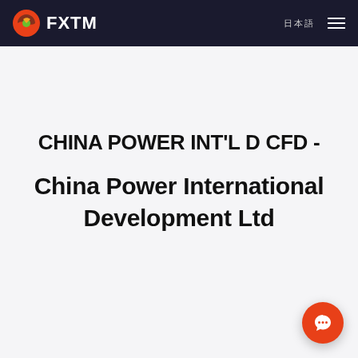FXTM
CHINA POWER INT'L D CFD -
China Power International Development Ltd
[Figure (illustration): Orange circular chat bubble icon with speech bubble symbol in bottom-right corner]